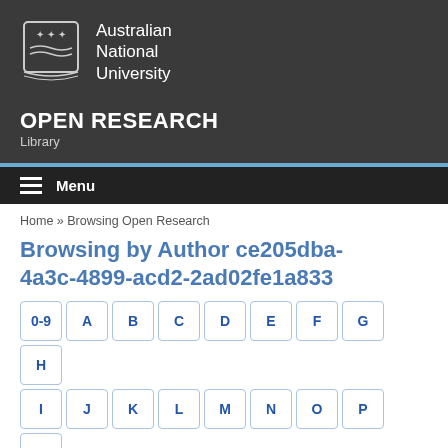[Figure (logo): Australian National University logo with crest and text]
OPEN RESEARCH
Library
Menu
Home » Browsing Open Research
Browsing by Author ce205dba-4a3c-4899-acd2-2ad02fe1a833
0-9 A B C D E F G H I J K L M N O P Q R S T U V W X Y Z
Or enter first few letters:
Go